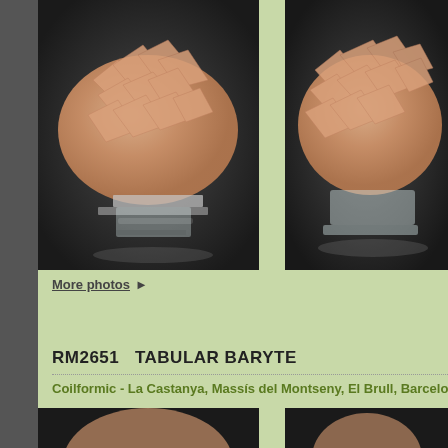[Figure (photo): Tabular Baryte mineral specimen on clear acrylic stand, pinkish-tan color, fan-shaped crystal cluster, front view, against dark background]
[Figure (photo): Tabular Baryte mineral specimen on clear acrylic stand, pinkish-tan color, fan-shaped crystal cluster, side view, against dark background]
More photos ▶
RM2651   TABULAR BARYTE
Coilformic - La Castanya, Massís del Montseny, El Brull, Barcelona, Cata
[Figure (photo): Bottom-left partial photo of another Baryte specimen against dark background]
[Figure (photo): Bottom-right partial photo of another Baryte specimen against dark background]